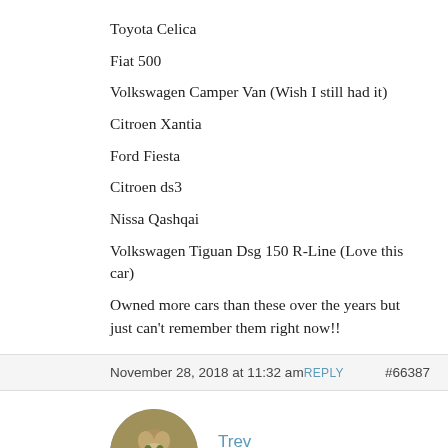Toyota Celica
Fiat 500
Volkswagen Camper Van (Wish I still had it)
Citroen Xantia
Ford Fiesta
Citroen ds3
Nissa Qashqai
Volkswagen Tiguan Dsg 150 R-Line (Love this car)
Owned more cars than these over the years but just can’t remember them right now!!
November 28, 2018 at 11:32 am  REPLY  #66387
Trev
Participant